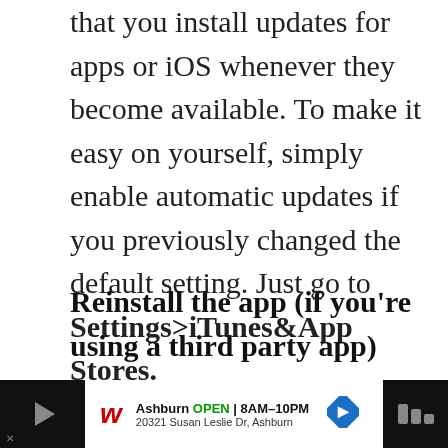that you install updates for apps or iOS whenever they become available. To make it easy on yourself, simply enable automatic updates if you previously changed the default setting. Just go to Settings>iTunes&App Stores.
Reinstall the app (if you're using a third party app)
We assume that you're using the native